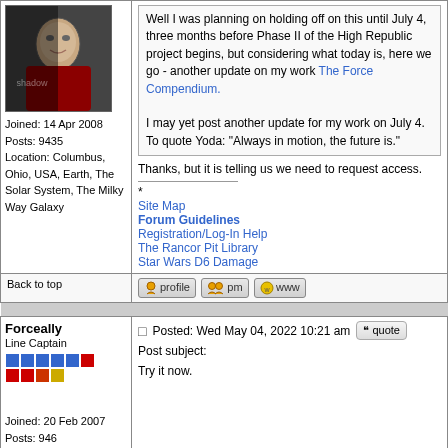[Figure (photo): Avatar image of forum user, showing a man's face, dark dramatic style]
Joined: 14 Apr 2008
Posts: 9435
Location: Columbus, Ohio, USA, Earth, The Solar System, The Milky Way Galaxy
Well I was planning on holding off on this until July 4, three months before Phase II of the High Republic project begins, but considering what today is, here we go - another update on my work The Force Compendium.

I may yet post another update for my work on July 4. To quote Yoda: "Always in motion, the future is."
Thanks, but it is telling us we need to request access.
* Site Map
Forum Guidelines
Registration/Log-In Help
The Rancor Pit Library
Star Wars D6 Damage
Back to top
[Figure (infographic): Profile, PM, and WWW buttons]
Forceally
Line Captain
[Figure (infographic): Rank bars: two rows of colored squares (blue row and red/yellow row)]
Joined: 20 Feb 2007
Posts: 946
Posted: Wed May 04, 2022 10:21 am
Post subject:
Try it now.
Back to top
[Figure (infographic): Profile, PM, and Email buttons]
Luwingo_Spince
Commander
Posted: Wed May 04, 2022 2:52 pm
Post subject: